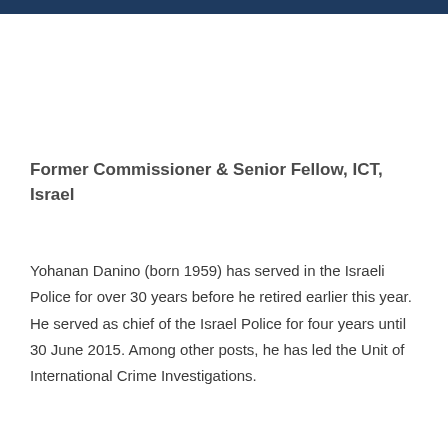Former Commissioner & Senior Fellow, ICT, Israel
Yohanan Danino (born 1959) has served in the Israeli Police for over 30 years before he retired earlier this year. He served as chief of the Israel Police for four years until 30 June 2015. Among other posts, he has led the Unit of International Crime Investigations.